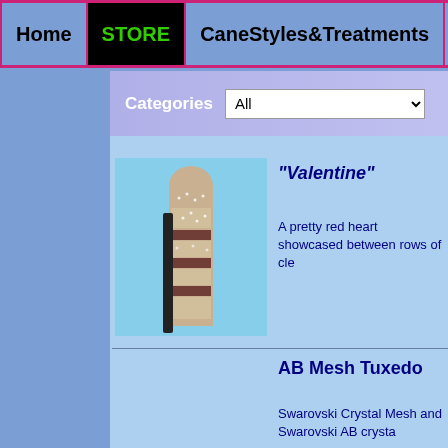Home | STORE | CaneStyles&Treatments | Swa...
Categories All
"Valentine"
A pretty red heart showcased between rows of cle...
[Figure (photo): A decorative cane handle covered in crystals, photographed against a blue sky]
AB Mesh Tuxedo
Swarovski Crystal Mesh and Swarovski AB crysta...